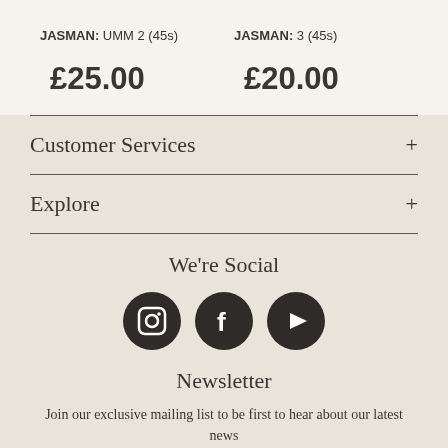JASMAN: UMM 2 (45s)
JASMAN: 3 (45s)
£25.00
£20.00
Customer Services +
Explore +
We're Social
[Figure (other): Three social media icons: Instagram, Facebook, YouTube — dark circular buttons with white icons]
Newsletter
Join our exclusive mailing list to be first to hear about our latest news